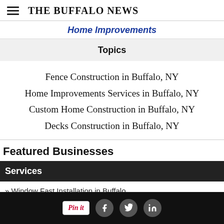The Buffalo News
Home Improvements
Topics
Fence Construction in Buffalo, NY
Home Improvements Services in Buffalo, NY
Custom Home Construction in Buffalo, NY
Decks Construction in Buffalo, NY
Featured Businesses
Services
» Window Fast Installation in Buffalo
Pin it | Facebook | Twitter | LinkedIn